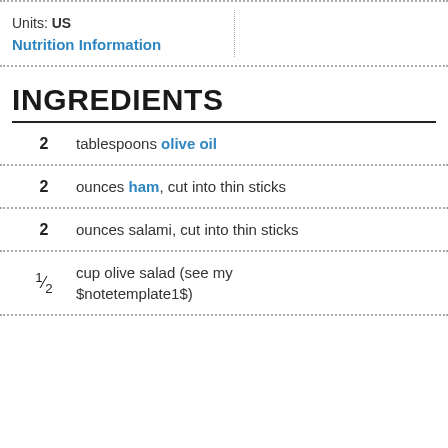Units: US
Nutrition Information
INGREDIENTS
2 tablespoons olive oil
2 ounces ham, cut into thin sticks
2 ounces salami, cut into thin sticks
½ cup olive salad (see my $notetemplate1$)